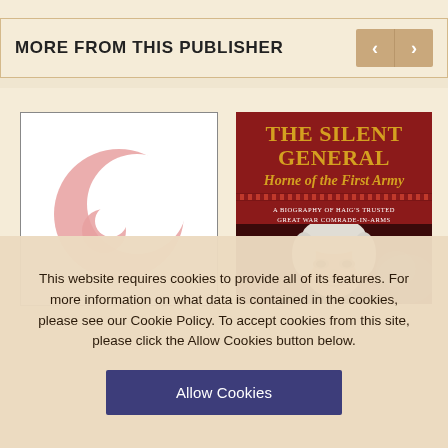MORE FROM THIS PUBLISHER
[Figure (logo): Pink crescent/moon logo on white background]
[Figure (illustration): Book cover: The Silent General - Horne of the First Army. A Biography of Haig's Trusted Great War Comrade-in-Arms. Red cover with gold title text and portrait photo of elderly man.]
This website requires cookies to provide all of its features. For more information on what data is contained in the cookies, please see our Cookie Policy. To accept cookies from this site, please click the Allow Cookies button below.
Allow Cookies